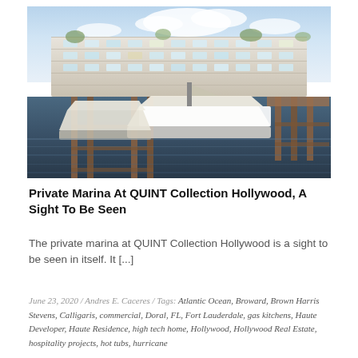[Figure (photo): Aerial or waterfront view of QUINT Collection Hollywood luxury residential development with boats docked at a private marina in the foreground and a modern multi-story building with terraces and greenery in the background.]
Private Marina At QUINT Collection Hollywood, A Sight To Be Seen
The private marina at QUINT Collection Hollywood is a sight to be seen in itself. It [...]
June 23, 2020 / Andres E. Caceres / Tags: Atlantic Ocean, Broward, Brown Harris Stevens, Calligaris, commercial, Doral, FL, Fort Lauderdale, gas kitchens, Haute Developer, Haute Residence, high tech home, Hollywood, Hollywood Real Estate, hospitality projects, hot tubs, hurricane